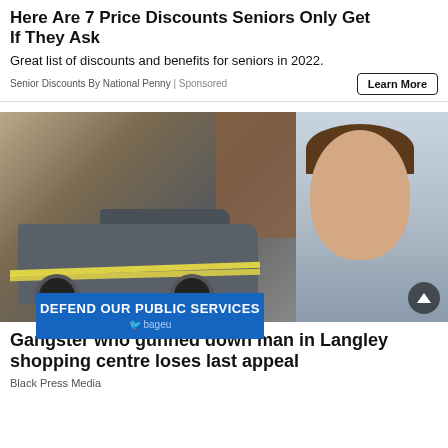Here Are 7 Price Discounts Seniors Only Get If They Ask
Great list of discounts and benefits for seniors in 2022.
Senior Discounts By National Penny | Sponsored
[Figure (photo): Crime scene with a dark pickup truck surrounded by yellow police tape in a parking lot, overlaid with a mugshot of a heavyset man with a bruised eye.]
Gangster who gunned down man in Langley shopping centre loses last appeal
Black Press Media